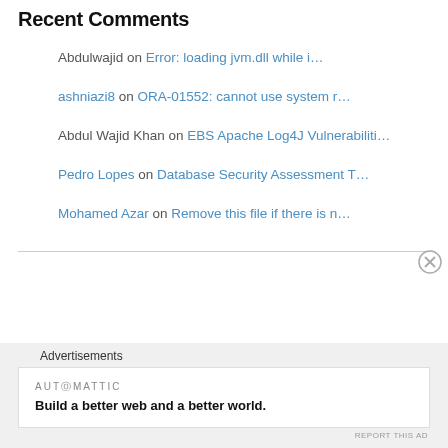Recent Comments
Abdulwajid on Error: loading jvm.dll while i…
ashniazi8 on ORA-01552: cannot use system r…
Abdul Wajid Khan on EBS Apache Log4J Vulnerabiliti…
Pedro Lopes on Database Security Assessment T…
Mohamed Azar on Remove this file if there is n…
Advertisements
AUTOMATTIC
Build a better web and a better world.